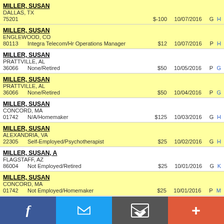MILLER, SUSAN
DALLAS, TX
75201	$-100	10/07/2016	G	H
MILLER, SUSAN
ENGLEWOOD, CO
80113	Integra Telecom/Hr Operations Manager	$12	10/07/2016	P	H
MILLER, SUSAN
PRATTVILLE, AL
36066	None/Retired	$50	10/05/2016	P	G
MILLER, SUSAN
PRATTVILLE, AL
36066	None/Retired	$50	10/04/2016	P	G
MILLER, SUSAN
CONCORD, MA
01742	N/A/Homemaker	$125	10/03/2016	G	H
MILLER, SUSAN
ALEXANDRIA, VA
22305	Self-Employed/Psychotherapist	$25	10/02/2016	G	H
MILLER, SUSAN, A
FLAGSTAFF, AZ
86004	Not Employed/Retired	$25	10/01/2016	G	K
MILLER, SUSAN
CONCORD, MA
01742	Not Employed/Homemaker	$25	10/01/2016	P	M